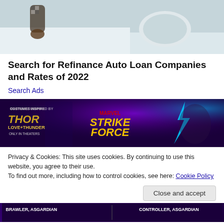[Figure (photo): Partial view of a white car with a person leaning out of the window, seen from outside near the side mirror.]
Search for Refinance Auto Loan Companies and Rates of 2022
Search Ads
[Figure (photo): Marvel Strike Force advertisement banner featuring Thor: Love and Thunder movie crossover characters on a purple/dark background.]
Privacy & Cookies: This site uses cookies. By continuing to use this website, you agree to their use.
To find out more, including how to control cookies, see here: Cookie Policy
Close and accept
[Figure (photo): Bottom strip of Marvel Strike Force banner showing character labels: BRAWLER, ASGARDIAN on left and CONTROLLER, ASGARDIAN on right.]